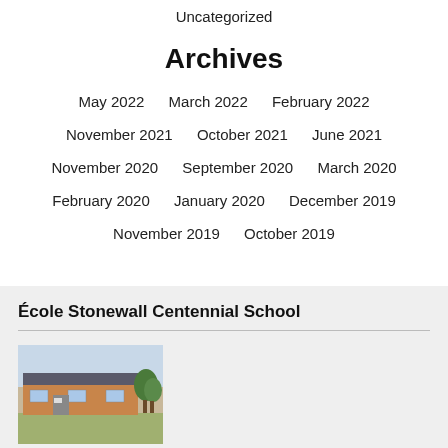Uncategorized
Archives
May 2022   March 2022   February 2022   November 2021   October 2021   June 2021   November 2020   September 2020   March 2020   February 2020   January 2020   December 2019   November 2019   October 2019
École Stonewall Centennial School
[Figure (photo): Exterior photo of École Stonewall Centennial School building, a single-story brick structure with trees nearby]